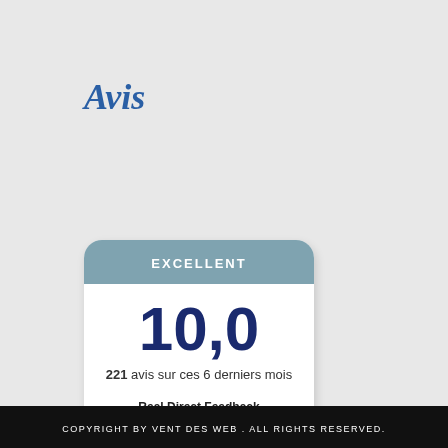Avis
[Figure (infographic): Rating badge showing EXCELLENT with score 10,0 based on 221 avis sur ces 6 derniers mois, by Real Direct Feedback / hotels-quality.com]
COPYRIGHT BY VENT DES WEB . ALL RIGHTS RESERVED.